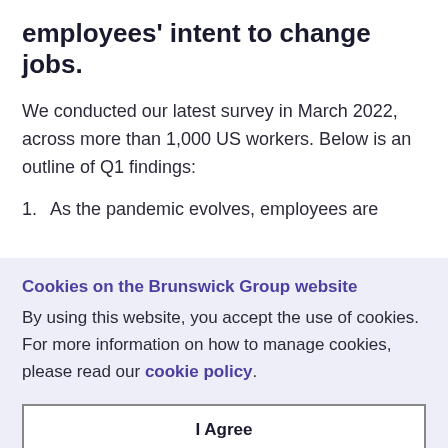employees' intent to change jobs.
We conducted our latest survey in March 2022, across more than 1,000 US workers. Below is an outline of Q1 findings:
1. As the pandemic evolves, employees are
Cookies on the Brunswick Group website
By using this website, you accept the use of cookies. For more information on how to manage cookies, please read our cookie policy.
I Agree